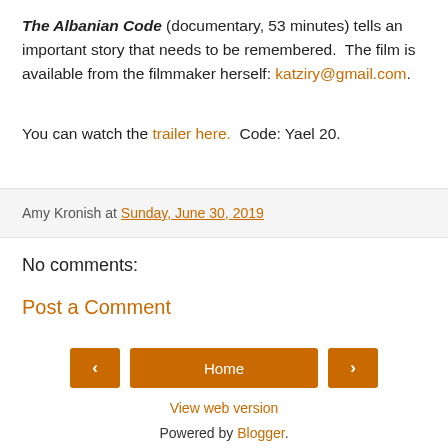The Albanian Code (documentary, 53 minutes) tells an important story that needs to be remembered. The film is available from the filmmaker herself: katziry@gmail.com. You can watch the trailer here. Code: Yael 20.
Amy Kronish at Sunday, June 30, 2019
No comments:
Post a Comment
< Home > View web version Powered by Blogger.